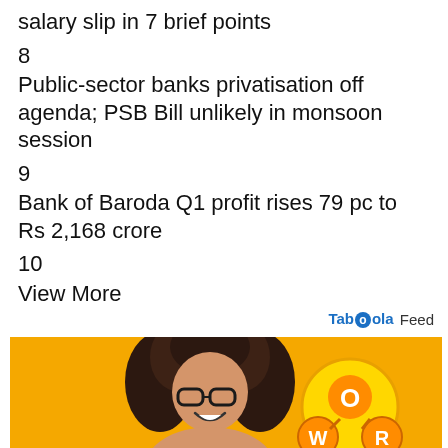salary slip in 7 brief points
8
Public-sector banks privatisation off agenda; PSB Bill unlikely in monsoon session
9
Bank of Baroda Q1 profit rises 79 pc to Rs 2,168 crore
10
View More
Taboola Feed
[Figure (photo): Advertisement image with yellow/orange background showing a young woman with curly hair and glasses smiling, with a word game app UI showing letters W, O, R on circular tiles]